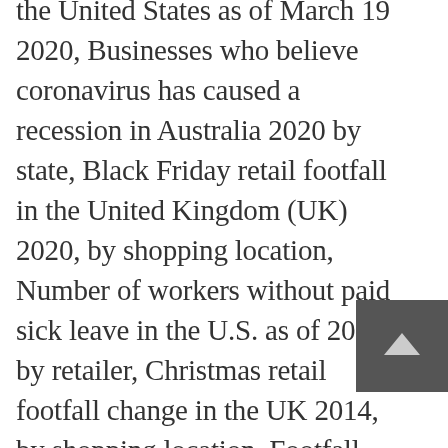the United States as of March 19 2020, Businesses who believe coronavirus has caused a recession in Australia 2020 by state, Black Friday retail footfall in the United Kingdom (UK) 2020, by shopping location, Number of workers without paid sick leave in the U.S. as of 2019, by retailer, Christmas retail footfall change in the UK 2014, by shopping location, Footfall change at shopping centers in the Netherlands due to coronavirus March 2020, Opinion on high street shops opening longer on Sundays in England and Wales 2016, Employees offered home working in Australia 2020 by industry, Attitude towards longer Sunday trading hours in England and Wales 2016, Growth in Google ad conversion for travel advertisers due to COVID-19 U.S 2020, Reliance Industries' HSE expenditure FY 2015-2020, Consumer views on in-store automation worldwide 2019, by country, Number of rented housing units in Denmark 2019, by size, Coronavirus (COVID-19) in the
[Figure (other): Dark grey square button with a light upward-pointing arrow/caret icon, positioned at the bottom right of the page]